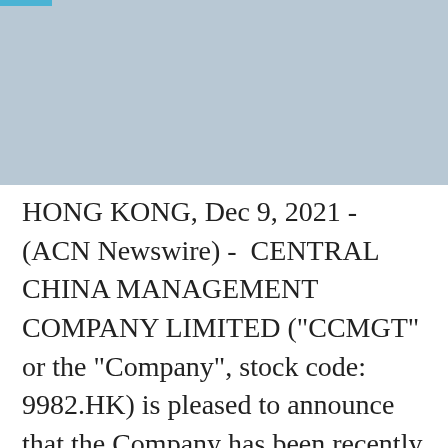[Figure (photo): Grey-blue image placeholder at top of page with a small teal/blue bar in the upper-left corner]
HONG KONG, Dec 9, 2021 - (ACN Newswire) -  CENTRAL CHINA MANAGEMENT COMPANY LIMITED ("CCMGT" or the "Company", stock code: 9982.HK) is pleased to announce that the Company has been recently awarded the "ListCo Excellence Awards 2021", proving